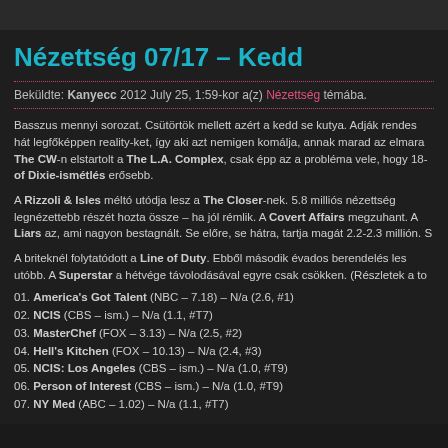Nézettség 07/17 – Kedd
Beküldte: Kanyecc 2012 July 25, 1:59-kor a(z) Nézettség témába.
Basszus mennyi sorozat. Csütörtök mellett azért a kedd se kutya. Adják rendes hát legfőképpen reality-ket, így aki azt nemigen komálja, annak marad az elmara The CW-n elstartolt a The L.A. Complex, csak épp az a probléma vele, hogy 18- of Dixie-ismétlés erősebb.
A Rizzoli & Isles méltó utódja lesz a The Closer-nek. 5.8 milliós nézettség legnézettebb részét hozta össze – ha jól rémlik. A Covert Affairs megzuhant. A Liars az, ami nagyon bestagnált. Se előre, se hátra, tartja magát 2.2-2.3 millión. S
A briteknél folytatódott a Line of Duty. Ebből második évados berendelés les utóbb. A Superstar a hétvége távolodásával egyre csak csökken. (Részletek a to
01. America's Got Talent (NBC – 7.18) – N/a (2.6, #1)
02. NCIS (CBS – ism.) – N/a (1.1, #T7)
03. MasterChef (FOX – 3.13) – N/a (2.5, #2)
04. Hell's Kitchen (FOX – 10.13) – N/a (2.4, #3)
05. NCIS: Los Angeles (CBS – ism.) – N/a (1.0, #T9)
06. Person of Interest (CBS – ism.) – N/a (1.0, #T9)
07. NY Med (ABC – 1.02) – N/a (1.1, #T7)